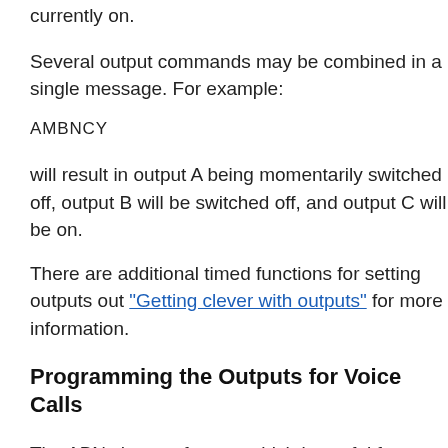currently on.
Several output commands may be combined in a single message. For example:
AMBNCY
will result in output A being momentarily switched off, output B will be switched off, and output C will be on.
There are additional timed functions for setting outputs out "Getting clever with outputs" for more information.
Programming the Outputs for Voice Calls
The ABNs have a feature which is useful for access control applications whereby outputs may be activated simply by making an ordinary voice call to the ABN.
This feature utilises the Caller Line Identification (CLI) of GSM to identify the caller and activate an output accordingly. To use it, the ABN